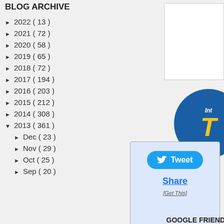BLOG ARCHIVE
► 2022 ( 13 )
► 2021 ( 72 )
► 2020 ( 58 )
► 2019 ( 65 )
► 2018 ( 72 )
► 2017 ( 194 )
► 2016 ( 203 )
► 2015 ( 212 )
► 2014 ( 308 )
▼ 2013 ( 361 )
► Dec ( 23 )
► Nov ( 29 )
► Oct ( 25 )
► Sep ( 20 )
[Figure (illustration): White rectangle box (sidebar widget placeholder)]
[Figure (illustration): Blue circular badge with text 'Int' and large yellow letter T]
[Figure (screenshot): Twitter Tweet button (blue oval) and Share/Get This links in a light blue box]
GOOGLE FRIEND